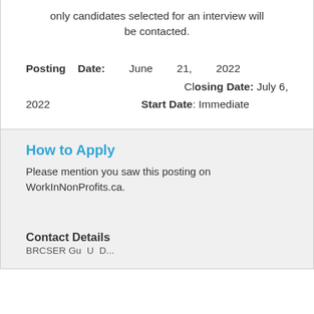only candidates selected for an interview will be contacted.
Posting Date: June 21, 2022 Closing Date: July 6, 2022 Start Date: Immediate
How to Apply
Please mention you saw this posting on WorkInNonProfits.ca.
Contact Details